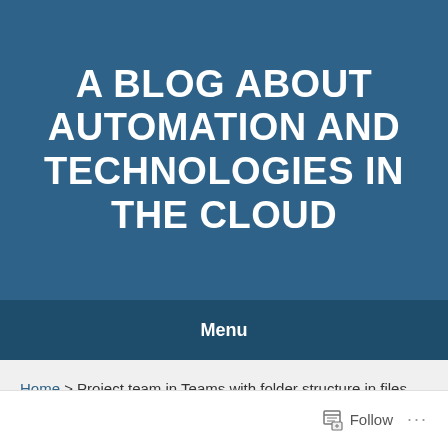A BLOG ABOUT AUTOMATION AND TECHNOLOGIES IN THE CLOUD
Menu
Home > Project team in Teams with folder structure in files tab!
Follow ...